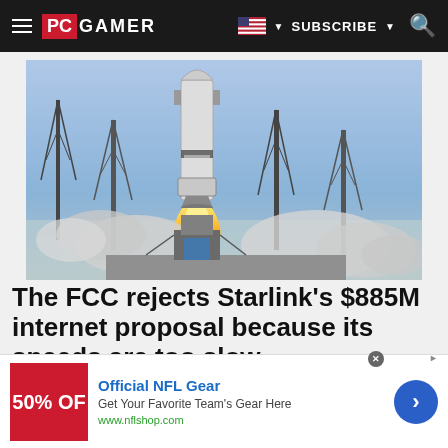PC GAMER | SUBSCRIBE
[Figure (photo): Rocket launch with flames and smoke at a launch pad with tall antenna towers, blue sky background]
The FCC rejects Starlink's $885M internet proposal because its speeds are too slow
[Figure (infographic): Advertisement banner: Official NFL Gear - Get Your Favorite Team's Gear Here - www.nflshop.com - showing red banner with '50% OF' text]